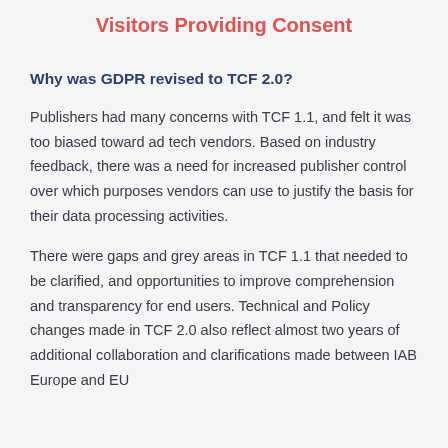Visitors Providing Consent
Why was GDPR revised to TCF 2.0?
Publishers had many concerns with TCF 1.1, and felt it was too biased toward ad tech vendors. Based on industry feedback, there was a need for increased publisher control over which purposes vendors can use to justify the basis for their data processing activities.
There were gaps and grey areas in TCF 1.1 that needed to be clarified, and opportunities to improve comprehension and transparency for end users. Technical and Policy changes made in TCF 2.0 also reflect almost two years of additional collaboration and clarifications made between IAB Europe and EU